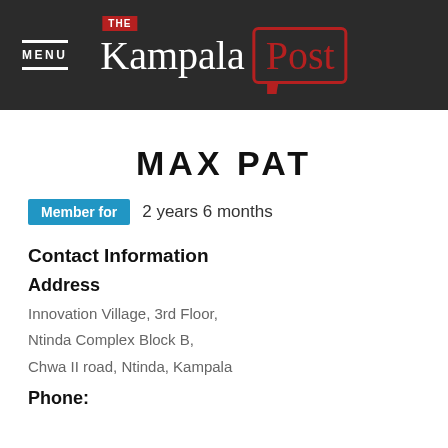MENU | The Kampala Post
MAX PAT
Member for 2 years 6 months
Contact Information
Address
Innovation Village, 3rd Floor,
Ntinda Complex Block B,
Chwa II road, Ntinda, Kampala
Phone: